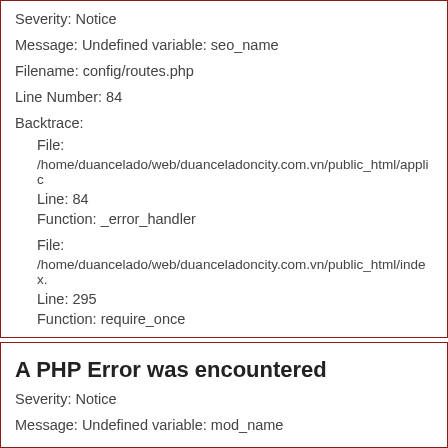Severity: Notice
Message: Undefined variable: seo_name
Filename: config/routes.php
Line Number: 84
Backtrace:
File:
/home/duancelado/web/duanceladoncity.com.vn/public_html/appli...
Line: 84
Function: _error_handler
File:
/home/duancelado/web/duanceladoncity.com.vn/public_html/index...
Line: 295
Function: require_once
A PHP Error was encountered
Severity: Notice
Message: Undefined variable: mod_name